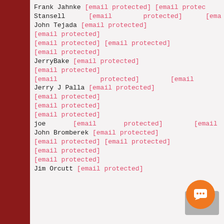Frank Jahnke [email protected] [email protected]
Stansell [email protected] [email...
John Tejada [email protected]
[email protected]
[email protected] [email protected]
[email protected]
JerryBake [email protected]
[email protected]
[email protected] [email...
Jerry J Palla [email protected]
[email protected]
[email protected]
[email protected]
joe [email protected] [email...
John Bromberek [email protected]
[email protected] [email protected]
[email protected]
[email protected]
Jim Orcutt [email protected]